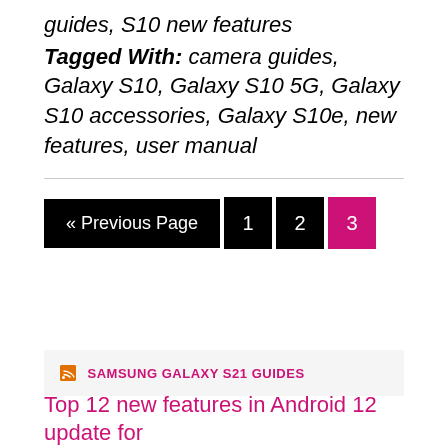guides, S10 new features
Tagged With: camera guides, Galaxy S10, Galaxy S10 5G, Galaxy S10 accessories, Galaxy S10e, new features, user manual
« Previous Page  1  2  3
SAMSUNG GALAXY S21 GUIDES
Top 12 new features in Android 12 update for